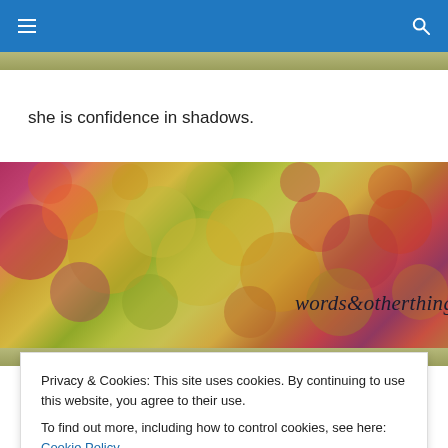navigation bar with hamburger menu and search icon
she is confidence in shadows.
[Figure (illustration): Bokeh/blurred colorful lights banner image with cursive script text reading 'words&otherthings']
TAGGED WITH CUSTOMERS
Privacy & Cookies: This site uses cookies. By continuing to use this website, you agree to their use.
To find out more, including how to control cookies, see here: Cookie Policy

Close and accept